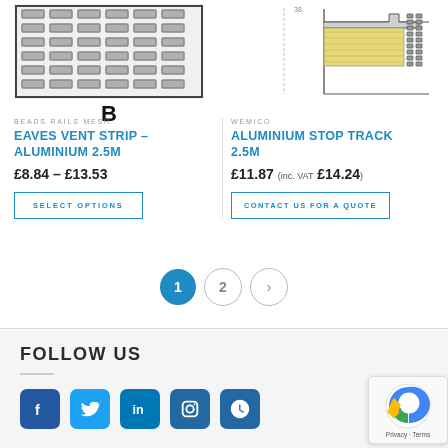[Figure (illustration): Perforated mesh grid product image with letter B label below]
[Figure (engineering-diagram): Cross-section engineering diagram of aluminium stop track with yellow insulation layers]
BEADS RAILS MESH
EAVES VENT STRIP – ALUMINIUM 2.5M
£8.84 – £13.53
SELECT OPTIONS
WEMICO
ALUMINIUM STOP TRACK 2.5M
£11.87 (inc. VAT £14.24)
CONTACT US FOR A QUOTE
1 2 >
FOLLOW US